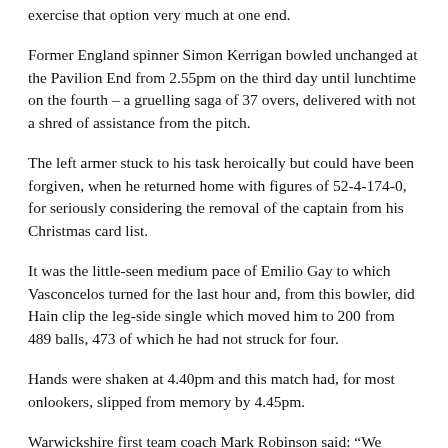exercise that option very much at one end.
Former England spinner Simon Kerrigan bowled unchanged at the Pavilion End from 2.55pm on the third day until lunchtime on the fourth – a gruelling saga of 37 overs, delivered with not a shred of assistance from the pitch.
The left armer stuck to his task heroically but could have been forgiven, when he returned home with figures of 52-4-174-0, for seriously considering the removal of the captain from his Christmas card list.
It was the little-seen medium pace of Emilio Gay to which Vasconcelos turned for the last hour and, from this bowler, did Hain clip the leg-side single which moved him to 200 from 489 balls, 473 of which he had not struck for four.
Hands were shaken at 4.40pm and this match had, for most onlookers, slipped from memory by 4.45pm.
Warwickshire first team coach Mark Robinson said: “We struggled again with the ball which was disappointing but it